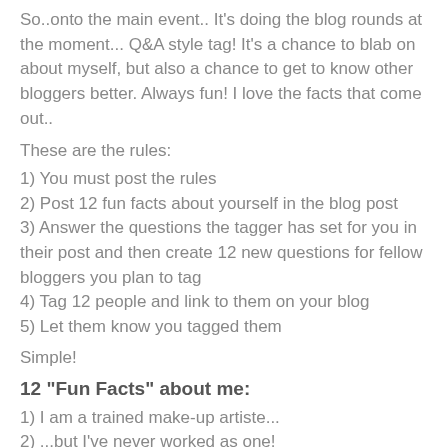So..onto the main event.. It's doing the blog rounds at the moment... Q&A style tag!  It's a chance to blab on about myself, but also a chance to get to know other bloggers better.  Always fun!  I love the facts that come out..
These are the rules:
1) You must post the rules
2) Post 12 fun facts about yourself in the blog post
3) Answer the questions the tagger has set for you in their post and then create 12 new questions for fellow bloggers you plan to tag
4) Tag 12 people and link to them on your blog
5) Let them know you tagged them
Simple!
12 "Fun Facts" about me:
1) I am a trained make-up artiste...
2) ...but I've never worked as one!
3) I have stars tattooed on my back.